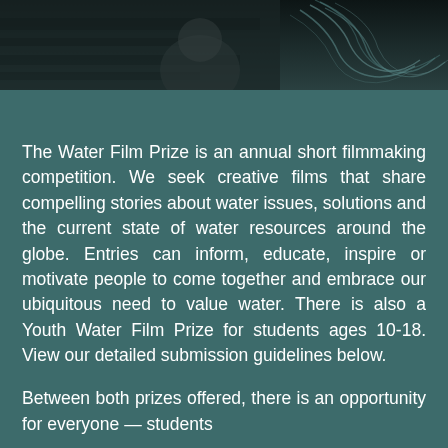[Figure (photo): Dark top banner image showing water/wood texture with swirling contour line patterns on the right side]
The Water Film Prize is an annual short filmmaking competition. We seek creative films that share compelling stories about water issues, solutions and the current state of water resources around the globe. Entries can inform, educate, inspire or motivate people to come together and embrace our ubiquitous need to value water. There is also a Youth Water Film Prize for students ages 10-18. View our detailed submission guidelines below.
Between both prizes offered, there is an opportunity for everyone — students